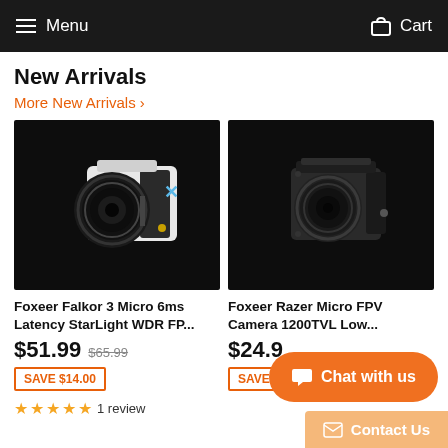Menu  Cart
New Arrivals
More New Arrivals ›
[Figure (photo): Foxeer Falkor 3 Micro FPV camera in white color with large lens, on black background]
[Figure (photo): Foxeer Razer Micro FPV camera in dark/black color with lens cover, on black background]
Foxeer Falkor 3 Micro 6ms Latency StarLight WDR FP...
Foxeer Razer Micro FPV Camera 1200TVL Low...
$51.99  $65.99
$24.9
SAVE $14.00
SAVE
★★★★★ 1 review
Chat with us
✉ Contact Us